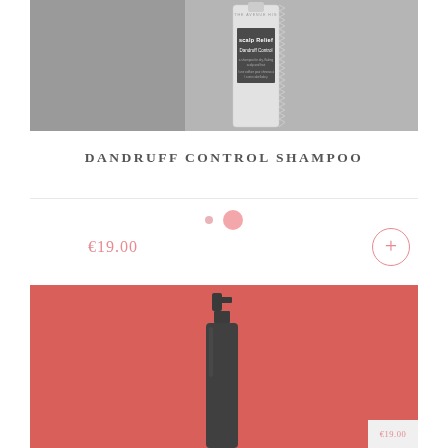[Figure (photo): Grayscale photo of a Neutrogena Scalp Relief Dandruff Control shampoo bottle on a gray background]
DANDRUFF CONTROL SHAMPOO
[Figure (other): Color selector dots - small pink dot and larger pink dot]
€19.00
[Figure (photo): Product photo of a dark spray bottle on a coral/red-pink background, partially visible]